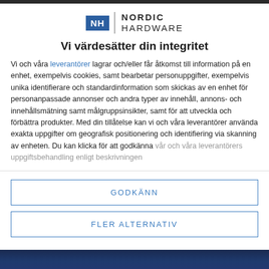[Figure (logo): Nordic Hardware logo: blue NH box followed by vertical divider and text NORDIC HARDWARE]
Vi värdesätter din integritet
Vi och våra leverantörer lagrar och/eller får åtkomst till information på en enhet, exempelvis cookies, samt bearbetar personuppgifter, exempelvis unika identifierare och standardinformation som skickas av en enhet för personanpassade annonser och andra typer av innehåll, annons- och innehållsmätning samt målgruppsinsikter, samt för att utveckla och förbättra produkter. Med din tillåtelse kan vi och våra leverantörer använda exakta uppgifter om geografisk positionering och identifiering via skanning av enheten. Du kan klicka för att godkänna vår och våra leverantörers uppgiftsbehandling enligt beskrivningen
GODKÄNN
FLER ALTERNATIV